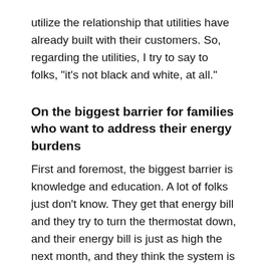utilize the relationship that utilities have already built with their customers. So, regarding the utilities, I try to say to folks, "it's not black and white, at all."
On the biggest barrier for families who want to address their energy burdens
First and foremost, the biggest barrier is knowledge and education. A lot of folks just don't know. They get that energy bill and they try to turn the thermostat down, and their energy bill is just as high the next month, and they think the system is rigged. They don't know they should seal their attic, and they should unplug